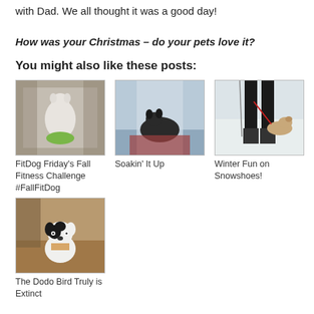with Dad. We all thought it was a good day!
How was your Christmas – do your pets love it?
You might also like these posts:
[Figure (photo): Dog standing on a green dog toy/balance disc in what appears to be a store or gym]
[Figure (photo): Black and white cat or dog lounging on a surface indoors near a window]
[Figure (photo): Dog on a leash in the snow with person wearing boots and ski poles visible]
FitDog Friday's Fall Fitness Challenge #FallFitDog
Soakin' It Up
Winter Fun on Snowshoes!
[Figure (photo): Black and white dog sitting indoors looking at camera]
The Dodo Bird Truly is Extinct